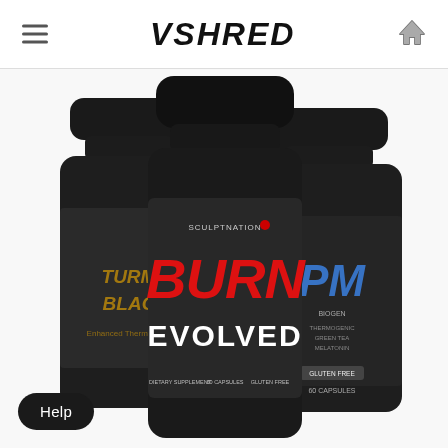VSHRED
[Figure (photo): Three supplement bottles: left bottle labeled TURMERIC BLACK with gold text on black, center bottle labeled BURN EVOLVED in bold red and white text on dark label (Sculptnation brand, 60 capsules, dietary supplement), right bottle labeled PM in blue text with Biogen branding, 60 capsules. All three are dark/black bottles with black caps against a white background.]
Help